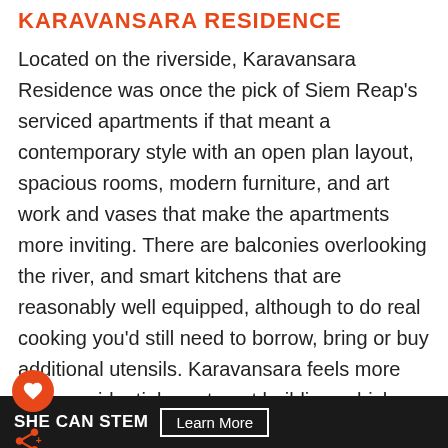KARAVANSARA RESIDENCE
Located on the riverside, Karavansara Residence was once the pick of Siem Reap's serviced apartments if that meant a contemporary style with an open plan layout, spacious rooms, modern furniture, and art work and vases that make the apartments more inviting. There are balconies overlooking the river, and smart kitchens that are reasonably well equipped, although to do real cooking you'd still need to borrow, bring or buy additional utensils. Karavansara feels more like a residential apartment building, which we like, and there are indeed long-term residents in the building. There's a small pool on the rooftop. We
SHE CAN STEM   Learn More